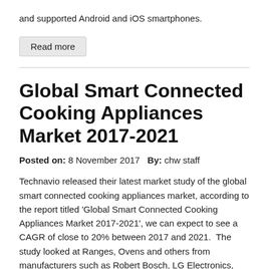and supported Android and iOS smartphones.
Read more
Global Smart Connected Cooking Appliances Market 2017-2021
Posted on: 8 November 2017   By: chw staff
Technavio released their latest market study of the global smart connected cooking appliances market, according to the report titled 'Global Smart Connected Cooking Appliances Market 2017-2021', we can expect to see a CAGR of close to 20% between 2017 and 2021.  The study looked at Ranges, Ovens and others from manufacturers such as Robert Bosch, LG Electronics, Samsung, Behmor, Koninklijke Philips, Haier (GE Appliances), Breville, and Whirlpool.